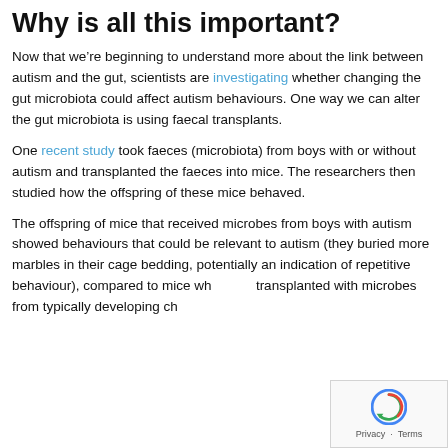Why is all this important?
Now that we’re beginning to understand more about the link between autism and the gut, scientists are investigating whether changing the gut microbiota could affect autism behaviours. One way we can alter the gut microbiota is using faecal transplants.
One recent study took faeces (microbiota) from boys with or without autism and transplanted the faeces into mice. The researchers then studied how the offspring of these mice behaved.
The offspring of mice that received microbes from boys with autism showed behaviours that could be relevant to autism (they buried more marbles in their cage bedding, potentially an indication of repetitive behaviour), compared to mice who were transplanted with microbes from typically developing ch...